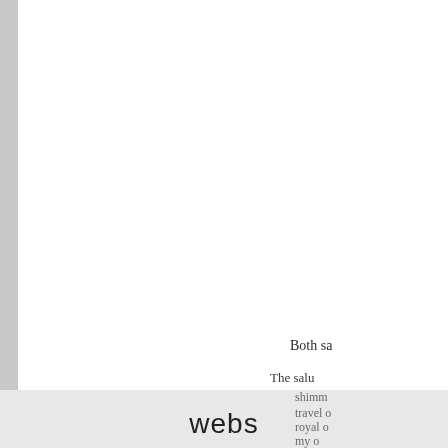Both sa
The salu
shimm
travel o
royal o
my o
webs